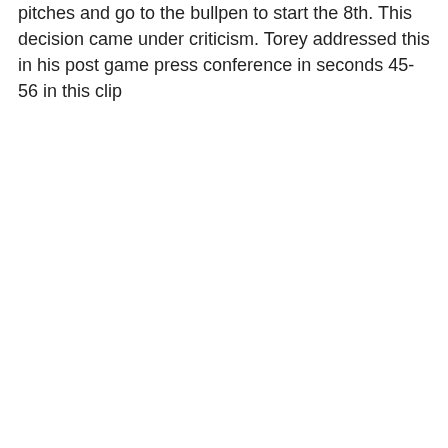pitches and go to the bullpen to start the 8th. This decision came under criticism. Torey addressed this in his post game press conference in seconds 45-56 in this clip